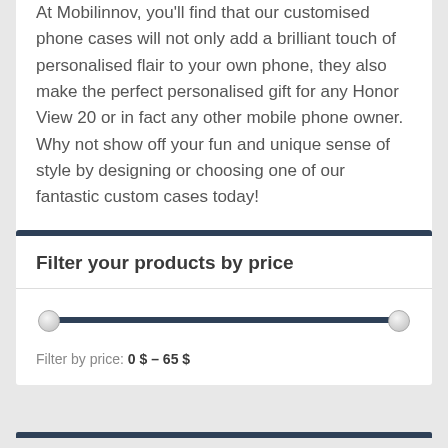At Mobilinnov, you'll find that our customised phone cases will not only add a brilliant touch of personalised flair to your own phone, they also make the perfect personalised gift for any Honor View 20 or in fact any other mobile phone owner. Why not show off your fun and unique sense of style by designing or choosing one of our fantastic custom cases today!
Filter your products by price
Filter by price: 0 $ – 65 $